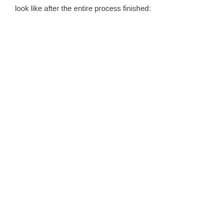look like after the entire process finished: